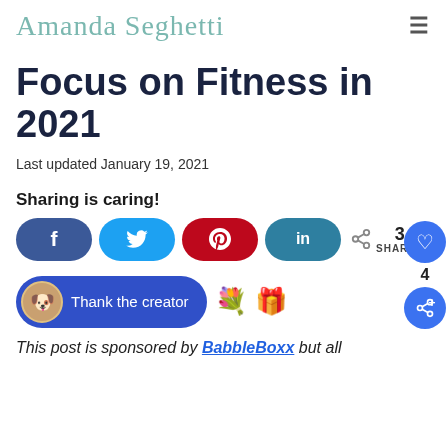Amanda Seghetti
Focus on Fitness in 2021
Last updated January 19, 2021
Sharing is caring!
[Figure (infographic): Social share buttons: Facebook (f), Twitter (bird), Pinterest (P), LinkedIn (in), with share icon and count of 3 SHARES]
[Figure (infographic): Thank the creator button with avatar, flower and gift emojis, and floating like (heart) button with count 4, and floating share button]
This post is sponsored by BabbleBoxx but all